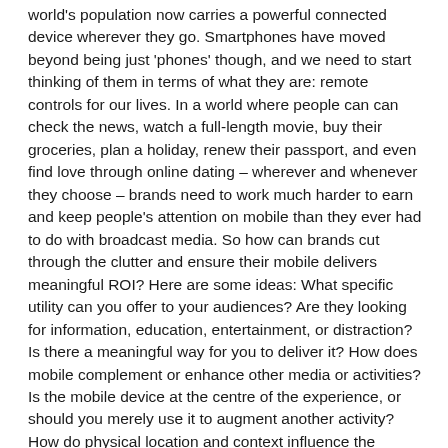world's population now carries a powerful connected device wherever they go. Smartphones have moved beyond being just 'phones' though, and we need to start thinking of them in terms of what they are: remote controls for our lives. In a world where people can can check the news, watch a full-length movie, buy their groceries, plan a holiday, renew their passport, and even find love through online dating – wherever and whenever they choose – brands need to work much harder to earn and keep people's attention on mobile than they ever had to do with broadcast media. So how can brands cut through the clutter and ensure their mobile delivers meaningful ROI? Here are some ideas: What specific utility can you offer to your audiences? Are they looking for information, education, entertainment, or distraction? Is there a meaningful way for you to deliver it? How does mobile complement or enhance other media or activities? Is the mobile device at the centre of the experience, or should you merely use it to augment another activity? How do physical location and context influence the experience? Would people prefer short, focused content, or are they looking for richer experiences and longer distractions?